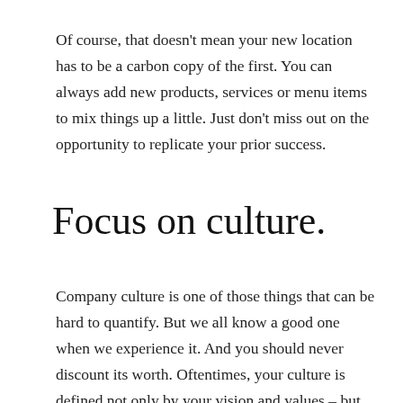Of course, that doesn't mean your new location has to be a carbon copy of the first. You can always add new products, services or menu items to mix things up a little. Just don't miss out on the opportunity to replicate your prior success.
Focus on culture.
Company culture is one of those things that can be hard to quantify. But we all know a good one when we experience it. And you should never discount its worth. Oftentimes, your culture is defined not only by your vision and values – but by the way you treat